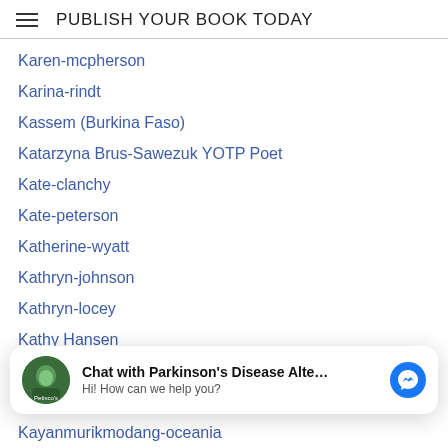PUBLISH YOUR BOOK TODAY
Karen-mcpherson
Karina-rindt
Kassem (Burkina Faso)
Katarzyna Brus-Sawezuk YOTP Poet
Kate-clanchy
Kate-peterson
Katherine-wyatt
Kathryn-johnson
Kathryn-locey
Kathy Hansen
Kat-lehmann
Kavi-sebastian
Kayanmurikmodang-oceania
Kayan-sarawak-kalimantan (partially visible)
[Figure (screenshot): Chat overlay: avatar of Parkinson's Disease Alte... with text 'Chat with Parkinson's Disease Alte...' and 'Hi! How can we help you?' and blue Messenger icon]
Kedoshim